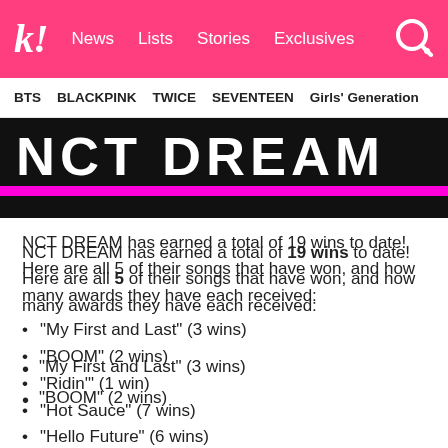k! News  Lists  Stories  Exclusives
BTS  BLACKPINK  TWICE  SEVENTEEN  Girls' Generation
[Figure (photo): NCT DREAM logo/banner image in white bold text on black background with pink/magenta horizontal stripe]
NCT DREAM has earned a total of 19 wins to date! Here are all 5 of their songs that have won, and how many awards they have each received:
“My First and Last” (3 wins)
“BOOM” (2 wins)
“Ridin’” (1 win)
“Hot Sauce” (7 wins)
“Hello Future” (6 wins)